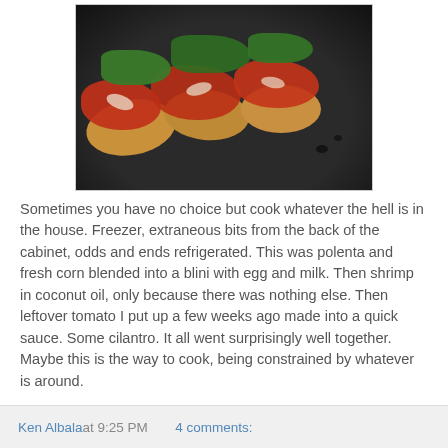[Figure (photo): A dark skillet/pan containing polenta blinis topped with shrimp, red tomato sauce, and fresh cilantro garnish.]
Sometimes you have no choice but cook whatever the hell is in the house. Freezer, extraneous bits from the back of the cabinet, odds and ends refrigerated. This was polenta and fresh corn blended into a blini with egg and milk. Then shrimp in coconut oil, only because there was nothing else. Then leftover tomato I put up a few weeks ago made into a quick sauce. Some cilantro. It all went surprisingly well together. Maybe this is the way to cook, being constrained by whatever is around.
Ken Albala at 9:25 PM   4 comments: